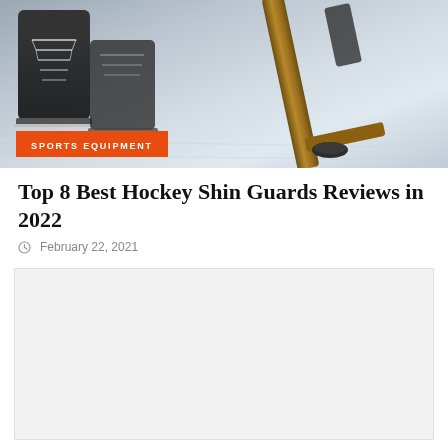[Figure (photo): Hockey scene showing ice skates, hockey sticks, and a puck on ice rink surface. Orange 'SPORTS EQUIPMENT' badge overlaid in the lower-left corner of the image.]
Top 8 Best Hockey Shin Guards Reviews in 2022
February 22, 2021
[Figure (other): Advertisement/placeholder area with light gray background]